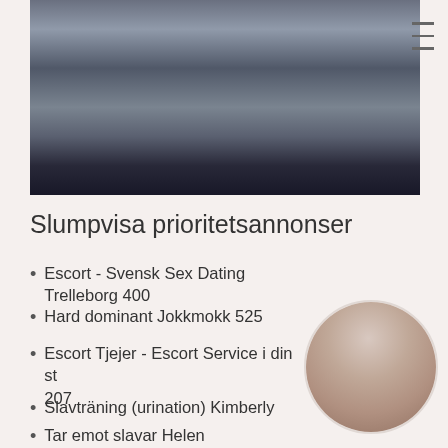[Figure (photo): Photo of person's legs in high heels next to a white ornate chair and black vase]
Slumpvisa prioritetsannonser
Escort - Svensk Sex Dating Trelleborg 400
Hard dominant Jokkmokk 525
Escort Tjejer - Escort Service i din st... 207
Slavträning (urination) Kimberly
Tar emot slavar Helen
Uniforms Margaret
[Figure (photo): Circular cropped photo of a person]